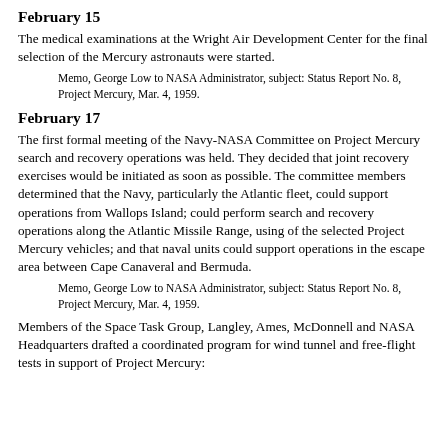February 15
The medical examinations at the Wright Air Development Center for the final selection of the Mercury astronauts were started.
Memo, George Low to NASA Administrator, subject: Status Report No. 8, Project Mercury, Mar. 4, 1959.
February 17
The first formal meeting of the Navy-NASA Committee on Project Mercury search and recovery operations was held. They decided that joint recovery exercises would be initiated as soon as possible. The committee members determined that the Navy, particularly the Atlantic fleet, could support operations from Wallops Island; could perform search and recovery operations along the Atlantic Missile Range, using of the selected Project Mercury vehicles; and that naval units could support operations in the escape area between Cape Canaveral and Bermuda.
Memo, George Low to NASA Administrator, subject: Status Report No. 8, Project Mercury, Mar. 4, 1959.
Members of the Space Task Group, Langley, Ames, McDonnell and NASA Headquarters drafted a coordinated program for wind tunnel and free-flight tests in support of Project Mercury: